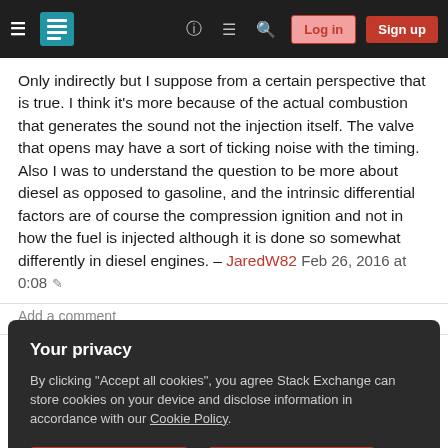Stack Exchange navigation bar with hamburger menu, logo, help, chat, search icons, Log in and Sign up buttons
Only indirectly but I suppose from a certain perspective that is true. I think it's more because of the actual combustion that generates the sound not the injection itself. The valve that opens may have a sort of ticking noise with the timing. Also I was to understand the question to be more about diesel as opposed to gasoline, and the intrinsic differential factors are of course the compression ignition and not in how the fuel is injected although it is done so somewhat differently in diesel engines. – JaredW82 Feb 26, 2016 at 0:08
Add a comment
Sorted by:
Your privacy
By clicking "Accept all cookies", you agree Stack Exchange can store cookies on your device and disclose information in accordance with our Cookie Policy.
Accept all cookies
Customize settings
of each cylinder easier to hear and the compression